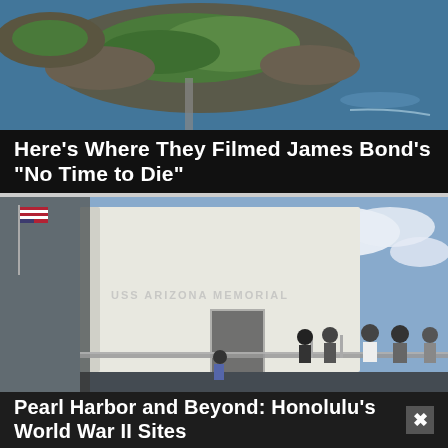[Figure (photo): Aerial view of a rocky island or peninsula surrounded by water, with green vegetation and a road or causeway visible from above.]
Here's Where They Filmed James Bond's "No Time to Die"
[Figure (photo): Photo of the USS Arizona Memorial in Pearl Harbor, Honolulu. A large white structure with 'USS ARIZONA MEMORIAL' text, an American flag, and visitors on a walkway railing, blue sky with clouds in background.]
Pearl Harbor and Beyond: Honolulu's World War II Sites